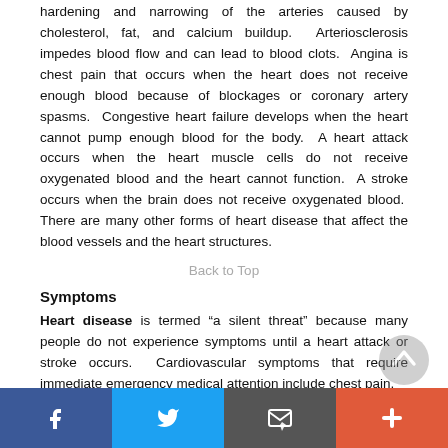hardening and narrowing of the arteries caused by cholesterol, fat, and calcium buildup.  Arteriosclerosis impedes blood flow and can lead to blood clots.  Angina is chest pain that occurs when the heart does not receive enough blood because of blockages or coronary artery spasms.  Congestive heart failure develops when the heart cannot pump enough blood for the body.  A heart attack occurs when the heart muscle cells do not receive oxygenated blood and the heart cannot function.  A stroke occurs when the brain does not receive oxygenated blood.  There are many other forms of heart disease that affect the blood vessels and the heart structures.
Back to Top
Symptoms
Heart disease is termed "a silent threat" because many people do not experience symptoms until a heart attack or stroke occurs.  Cardiovascular symptoms that require immediate emergency medical attention include chest pain,